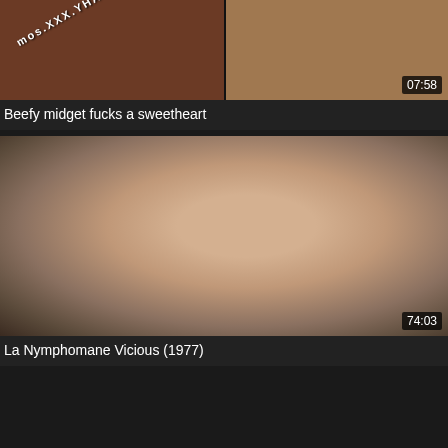[Figure (screenshot): Video thumbnail for 'Beefy midget fucks a sweetheart' with watermark text and duration badge 07:58]
Beefy midget fucks a sweetheart
[Figure (screenshot): Video thumbnail for 'La Nymphomane Vicious (1977)' showing close-up of woman's face with duration badge 74:03]
La Nymphomane Vicious (1977)